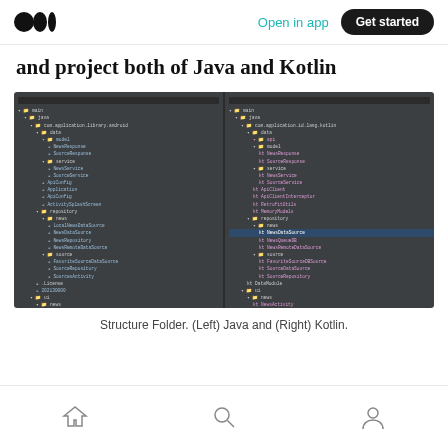Open in app | Get started
and project both of Java and Kotlin
[Figure (screenshot): Side-by-side screenshot of Android Studio project folder structures. Left panel shows a Java project file tree, right panel shows a Kotlin project file tree, both with expanded directory hierarchies showing source files, activities, adapters, and other components.]
Structure Folder. (Left) Java and (Right) Kotlin.
Home | Search | Profile navigation icons